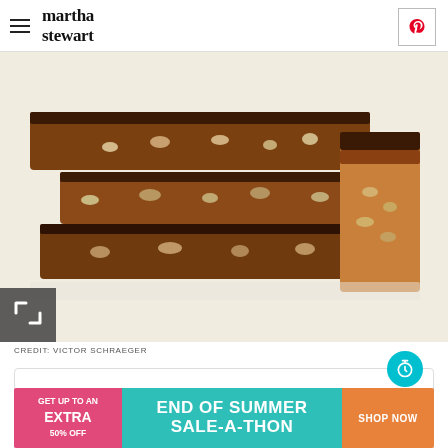martha stewart
[Figure (photo): Stacked chocolate brownie squares with white chocolate chips, shown from multiple angles on a white background]
CREDIT: VICTOR SCHRAEGER
Yield: Makes about 4 dozen 2-inch squares
[Figure (infographic): End of Summer Sale-A-Thon advertisement banner: Get up to an extra 50% off. Shop Now button.]